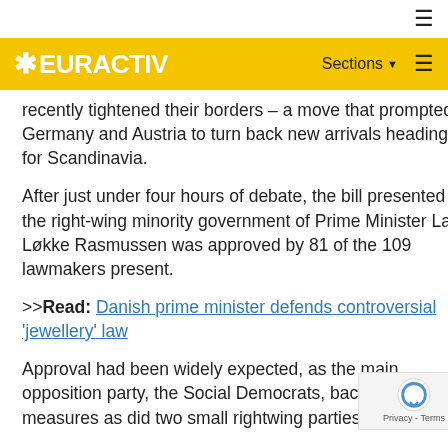EURACTIV — Sections
recently tightened their borders – a move that prompted Germany and Austria to turn back new arrivals heading for Scandinavia.
After just under four hours of debate, the bill presented by the right-wing minority government of Prime Minister Lars Løkke Rasmussen was approved by 81 of the 109 lawmakers present.
>>Read: Danish prime minister defends controversial 'jewellery' law
Approval had been widely expected, as the main opposition party, the Social Democrats, backed the measures as did two small rightwing parties.